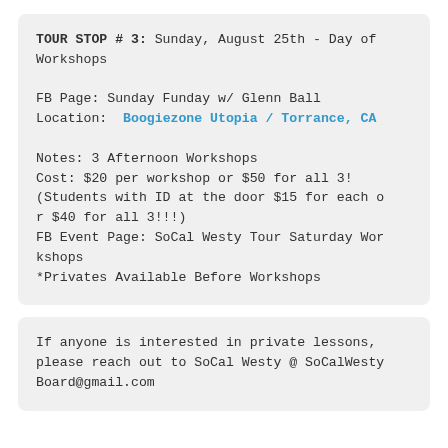TOUR STOP # 3: Sunday, August 25th - Day of Workshops

FB Page: Sunday Funday w/ Glenn Ball
Location: Boogiezone Utopia / Torrance, CA

Notes: 3 Afternoon Workshops
Cost: $20 per workshop or $50 for all 3!
(Students with ID at the door $15 for each or $40 for all 3!!!)
FB Event Page: SoCal Westy Tour Saturday Workshops
*Privates Available Before Workshops
If anyone is interested in private lessons, please reach out to SoCal Westy @ SoCalWestyBoard@gmail.com